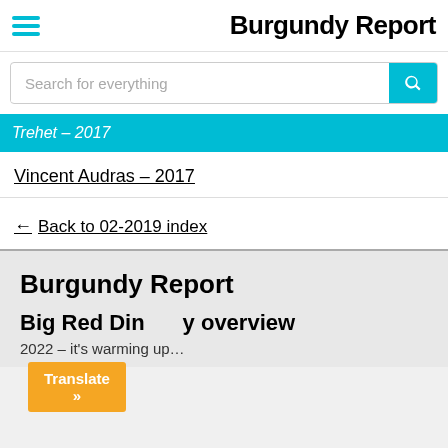Burgundy Report
Search for everything
Trehet – 2017
Vincent Audras – 2017
← Back to 02-2019 index
Burgundy Report
Big Red Diney overview
2022 – it's warming up...
Translate »